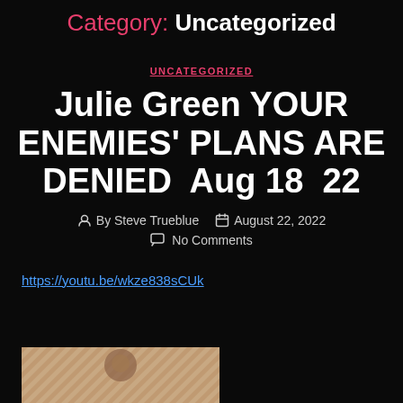Category: Uncategorized
UNCATEGORIZED
Julie Green YOUR ENEMIES' PLANS ARE DENIED  Aug 18  22
By Steve Trueblue   August 22, 2022
No Comments
https://youtu.be/wkze838sCUk
[Figure (photo): Thumbnail image partially visible at bottom of page]